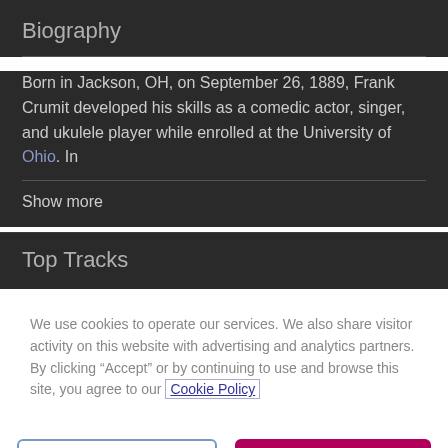Biography
Born in Jackson, OH, on September 26, 1889, Frank Crumit developed his skills as a comedic actor, singer, and ukulele player while enrolled at the University of Ohio. In
Show more
Top Tracks
We use cookies to operate our services. We also share visitor activity on this website with advertising and analytics partners. By clicking “Accept” or by continuing to use and browse this site, you agree to our Cookie Policy
Cookie Settings
Accept Cookies